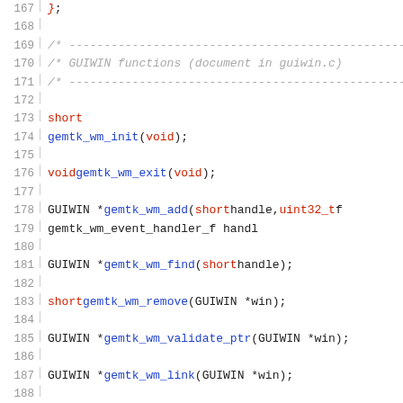[Figure (screenshot): Source code listing showing C header file function declarations for GUIWIN window manager functions (gemtk_wm_*), lines 167-197, with syntax highlighting in monospace font.]